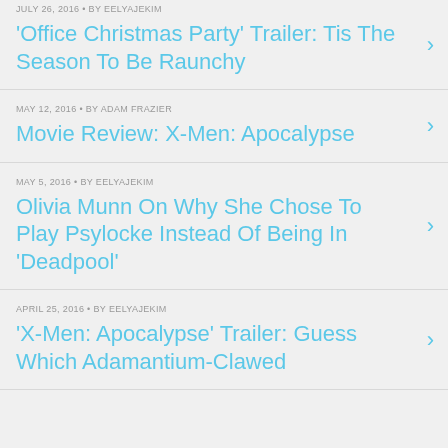JULY 26, 2016 • BY EELYAJEKIM — 'Office Christmas Party' Trailer: Tis The Season To Be Raunchy
MAY 12, 2016 • BY ADAM FRAZIER — Movie Review: X-Men: Apocalypse
MAY 5, 2016 • BY EELYAJEKIM — Olivia Munn On Why She Chose To Play Psylocke Instead Of Being In 'Deadpool'
APRIL 25, 2016 • BY EELYAJEKIM — 'X-Men: Apocalypse' Trailer: Guess Which Adamantium-Clawed...